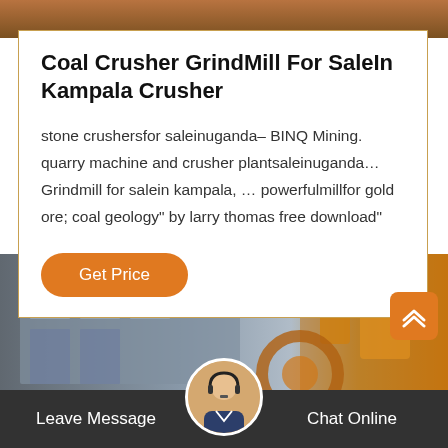[Figure (photo): Industrial machinery/crusher equipment at top of page]
Coal Crusher GrindMill For SaleIn Kampala Crusher
stone crushersfor saleinuganda– BINQ Mining. quarry machine and crusher plantsaleinuganda… Grindmill for salein kampala, … powerfulmillfor gold ore; coal geology" by larry thomas free download"
Get Price
[Figure (photo): Industrial mining facility building with heavy machinery in foreground]
Leave Message
Chat Online